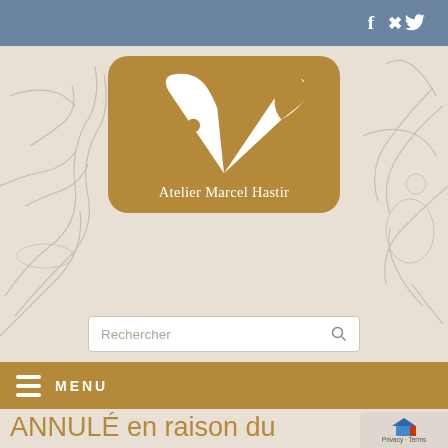[Figure (screenshot): Website header of Atelier Marcel Hastir with blue top bar, social media icons, illustrated background with sketches, brown logo box with white palette icon, search bar, brown menu bar, and announcement text in French about COVID-19 cancellation.]
ANNULÉ en raison du CORONAVIRUS et REPORTE